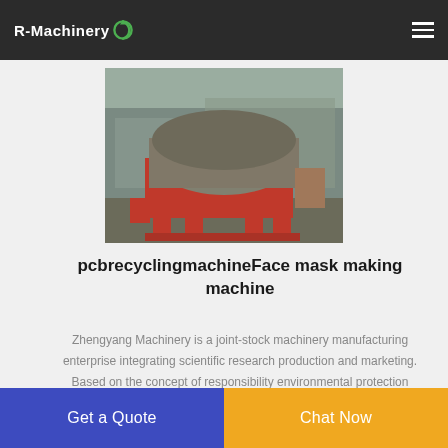R-Machinery
[Figure (photo): Industrial recycling/shredding machine with red metal frame and gray hood, photographed outdoors]
pcbrecyclingmachineFace mask making machine
Zhengyang Machinery is a joint-stock machinery manufacturing enterprise integrating scientific research production and marketing. Based on the concept of responsibility environmental protection pragmatism and innovation we have been committed to in the research and
Get a Quote
Chat Now